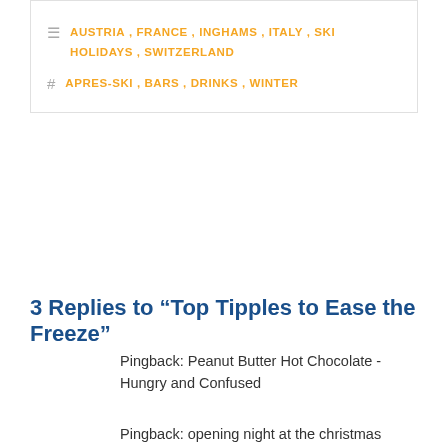AUSTRIA, FRANCE, INGHAMS, ITALY, SKI HOLIDAYS, SWITZERLAND
APRES-SKI, BARS, DRINKS, WINTER
3 Replies to “Top Tipples to Ease the Freeze”
Pingback: Peanut Butter Hot Chocolate - Hungry and Confused
Pingback: opening night at the christmas market in